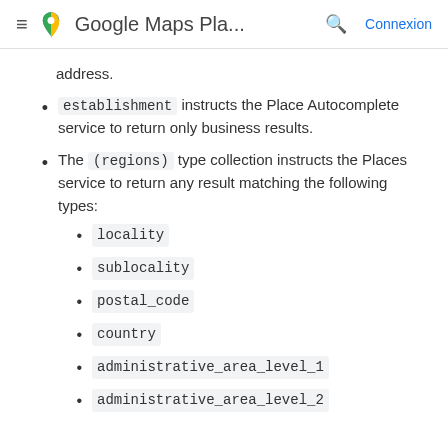Google Maps Pla... Connexion
address.
establishment instructs the Place Autocomplete service to return only business results.
The (regions) type collection instructs the Places service to return any result matching the following types:
locality
sublocality
postal_code
country
administrative_area_level_1
administrative_area_level_2